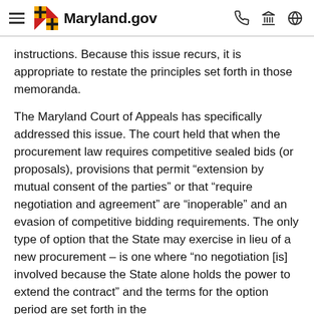Maryland.gov
instructions.  Because this issue recurs, it is appropriate to restate the principles set forth in those memoranda.
The Maryland Court of Appeals has specifically addressed this issue.  The court held that when the procurement law requires competitive sealed bids (or proposals), provisions that permit “extension by mutual consent of the parties” or that “require negotiation and agreement” are “inoperable” and an evasion of competitive bidding requirements.  The only type of option that the State may exercise in lieu of a new procurement – is one where “no negotiation [is] involved because the State alone holds the power to extend the contract” and the terms for the option period are set forth in the